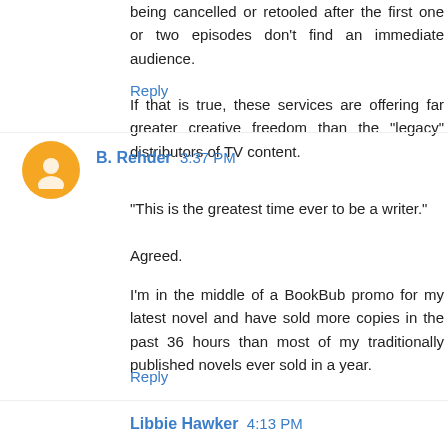being cancelled or retooled after the first one or two episodes don't find an immediate audience.
If that is true, these services are offering far greater creative freedom than the "legacy" distributors of TV content.
Reply
B. Rehder  3:37 PM
"This is the greatest time ever to be a writer."
Agreed.
I'm in the middle of a BookBub promo for my latest novel and have sold more copies in the past 36 hours than most of my traditionally published novels ever sold in a year.
Reply
Libbie Hawker  4:13 PM